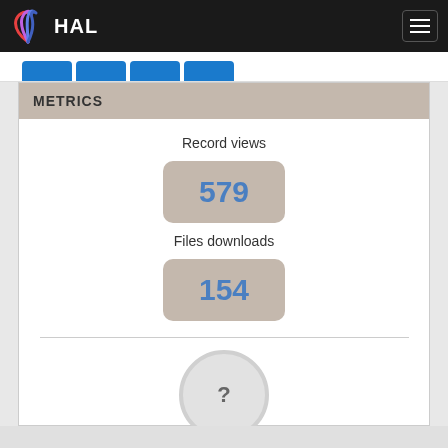HAL
METRICS
Record views
579
Files downloads
154
[Figure (other): Loading spinner circle with question mark]